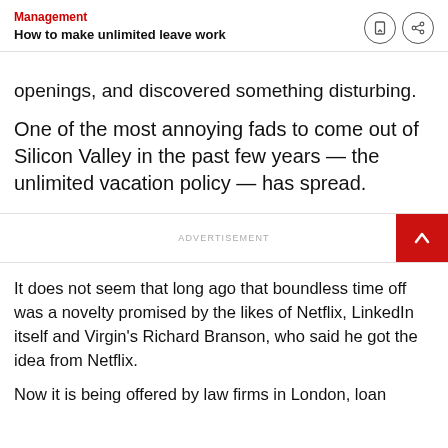Management
How to make unlimited leave work
openings, and discovered something disturbing.
One of the most annoying fads to come out of Silicon Valley in the past few years — the unlimited vacation policy — has spread.
ADVERTISEMENT
It does not seem that long ago that boundless time off was a novelty promised by the likes of Netflix, LinkedIn itself and Virgin's Richard Branson, who said he got the idea from Netflix.
Now it is being offered by law firms in London, loan